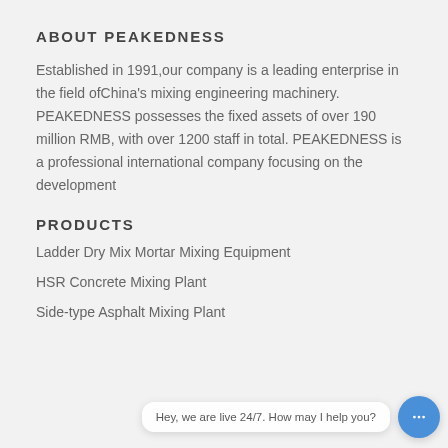ABOUT PEAKEDNESS
Established in 1991,our company is a leading enterprise in the field ofChina's mixing engineering machinery. PEAKEDNESS possesses the fixed assets of over 190 million RMB, with over 1200 staff in total. PEAKEDNESS is a professional international company focusing on the development
PRODUCTS
Ladder Dry Mix Mortar Mixing Equipment
HSR Concrete Mixing Plant
Side-type Asphalt Mixing Plant